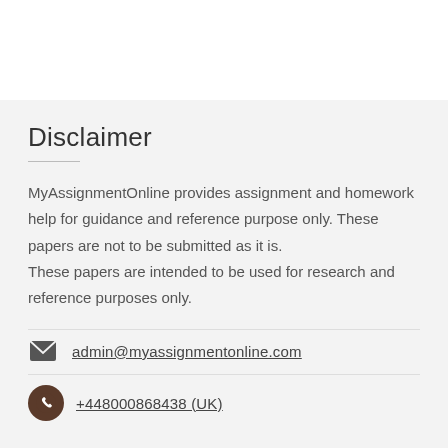Disclaimer
MyAssignmentOnline provides assignment and homework help for guidance and reference purpose only. These papers are not to be submitted as it is. These papers are intended to be used for research and reference purposes only.
admin@myassignmentonline.com
+448000868438 (UK)